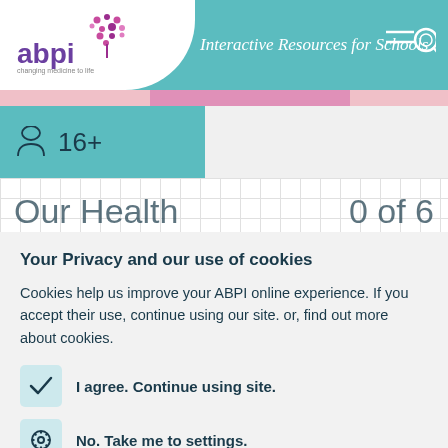[Figure (logo): ABPI logo with purple text and decorative dots above, on white wave background]
Interactive Resources for Schools
16+
Your Privacy and our use of cookies
Cookies help us improve your ABPI online experience. If you accept their use, continue using our site. or, find out more about cookies.
I agree. Continue using site.
No. Take me to settings.